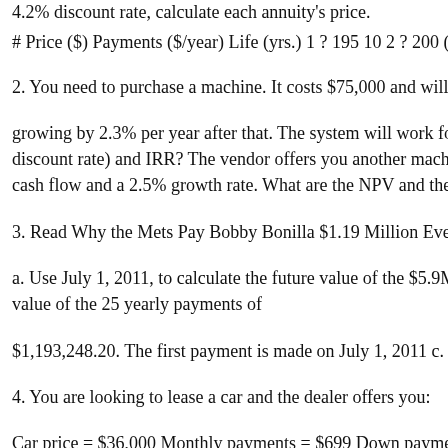4.2% discount rate, calculate each annuity's price. # Price ($) Payments ($/year) Life (yrs.) 1 ? 195 10 2 ? 200 (growing
2. You need to purchase a machine. It costs $75,000 and will exp
growing by 2.3% per year after that. The system will work for 10 y discount rate) and IRR? The vendor offers you another machine cash flow and a 2.5% growth rate. What are the NPV and the IRR
3. Read Why the Mets Pay Bobby Bonilla $1.19 Million Every July
a. Use July 1, 2011, to calculate the future value of the $5.9M owe value of the 25 yearly payments of
$1,193,248.20. The first payment is made on July 1, 2011 c. Should
4. You are looking to lease a car and the dealer offers you:
Car price = $36,000 Monthly payments = $699 Down payment = $ $18,000 What is the implicit interest rate on the lease?
5. The Airbus A220 has the following R&D costs (all negative cas